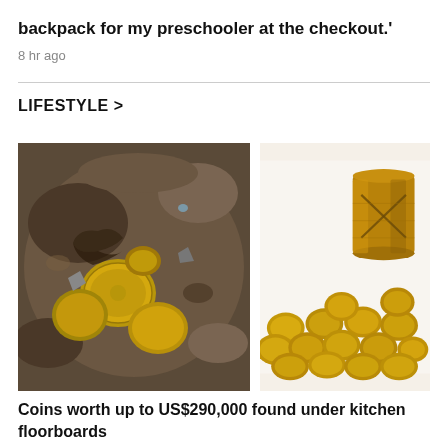backpack for my preschooler at the checkout.'
8 hr ago
LIFESTYLE >
[Figure (photo): Left photo: gold coins partially buried in dark soil/sand. Right photo: gold coins spread on white surface next to a cylindrical ceramic or horn cup with engraved geometric pattern.]
Coins worth up to US$290,000 found under kitchen floorboards